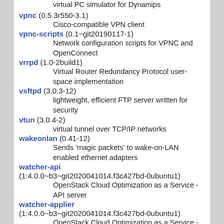virtual PC simulator for Dynamips
vpnc (0.5.3r550-3.1)
    Cisco-compatible VPN client
vpnc-scripts (0.1~git20190117-1)
    Network configuration scripts for VPNC and OpenConnect
vrrpd (1.0-2build1)
    Virtual Router Redundancy Protocol user-space implementation
vsftpd (3.0.3-12)
    lightweight, efficient FTP server written for security
vtun (3.0.4-2)
    virtual tunnel over TCP/IP networks
wakeonlan (0.41-12)
    Sends 'magic packets' to wake-on-LAN enabled ethernet adapters
watcher-api (1:4.0.0~b3~git2020041014.f3c427bd-0ubuntu1)
    OpenStack Cloud Optimization as a Service - API server
watcher-applier (1:4.0.0~b3~git2020041014.f3c427bd-0ubuntu1)
    OpenStack Cloud Optimization as a Service - Applier
watcher-common